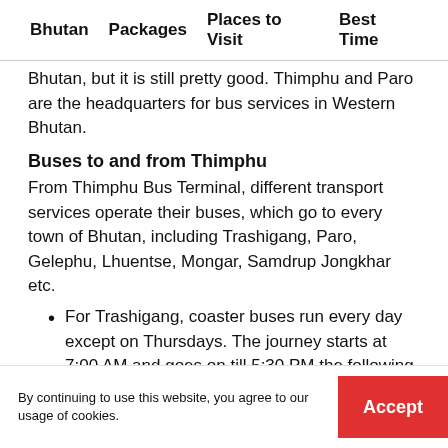Bhutan   Packages   Places to Visit   Best Time
Bhutan, but it is still pretty good. Thimphu and Paro are the headquarters for bus services in Western Bhutan.
Buses to and from Thimphu
From Thimphu Bus Terminal, different transport services operate their buses, which go to every town of Bhutan, including Trashigang, Paro, Gelephu, Lhuentse, Mongar, Samdrup Jongkhar etc.
For Trashigang, coaster buses run every day except on Thursdays. The journey starts at 7:00 AM and goes on till 5:30 PM the following day. For a night, it halts at Bumthang, where
By continuing to use this website, you agree to our usage of cookies.